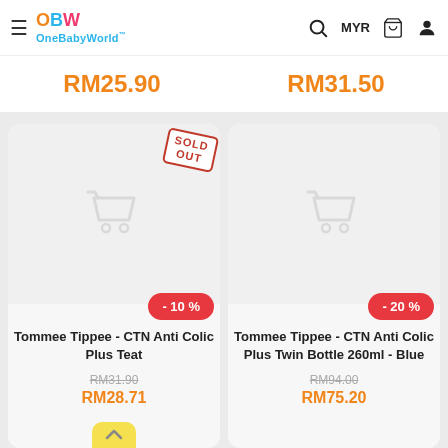OneBabyWorld™ — MYR
RM25.90
RM31.50
[Figure (screenshot): Product card with SOLD OUT stamp and shopping cart icon placeholder, -10% discount badge]
Tommee Tippee - CTN Anti Colic Plus Teat
RM31.90
RM28.71
[Figure (screenshot): Product card with shopping cart icon placeholder, -20% discount badge]
Tommee Tippee - CTN Anti Colic Plus Twin Bottle 260ml - Blue
RM94.00
RM75.20